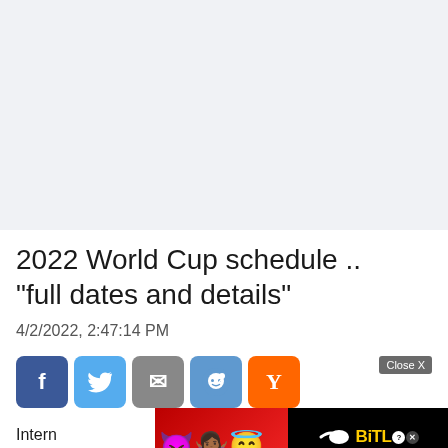[Figure (screenshot): Large blank light gray area at top, representing an advertisement or content placeholder space.]
2022 World Cup schedule .. "full dates and details"
4/2/2022, 2:47:14 PM
[Figure (screenshot): Social sharing buttons: Facebook (blue), Twitter (light blue), Email (gray), Reddit (blue), Hacker News Y (orange), with a Close X button. An advertisement overlay banner with BitLife branding and emoji characters covering part of the bar.]
Intern the